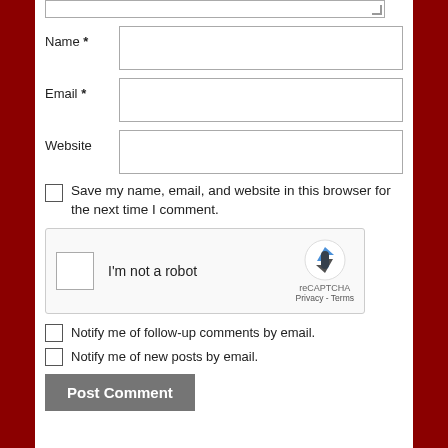[textarea top crop]
Name *
Email *
Website
Save my name, email, and website in this browser for the next time I comment.
[Figure (other): reCAPTCHA widget with checkbox labeled 'I'm not a robot' and Google reCAPTCHA logo with Privacy and Terms links]
Notify me of follow-up comments by email.
Notify me of new posts by email.
Post Comment